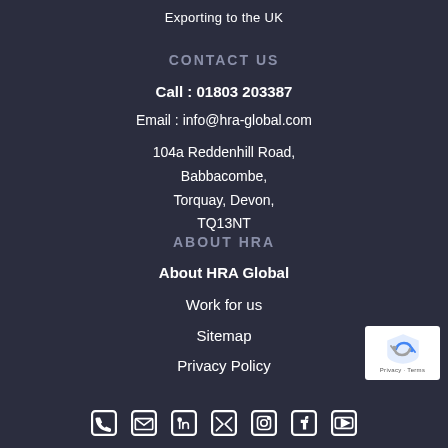Exporting to the UK
CONTACT US
Call : 01803 203387
Email : info@hra-global.com
104a Reddenhill Road,
Babbacombe,
Torquay, Devon,
TQ13NT
ABOUT HRA
About HRA Global
Work for us
Sitemap
Privacy Policy
[Figure (logo): reCAPTCHA badge with shield icon and Privacy - Terms text]
[Figure (infographic): Social media icons row: phone, email, LinkedIn, Twitter, Instagram, Facebook, YouTube]